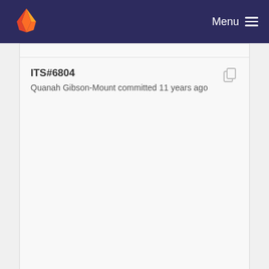Menu
ITS#6804
Quanah Gibson-Mount committed 11 years ago
Tweak CHANGES wordings
Hallvard Furuseth committed 11 years ago